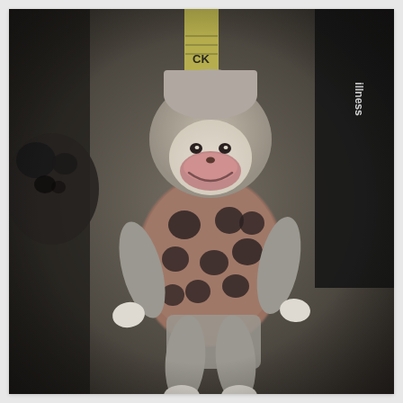[Figure (photo): A sock monkey stuffed animal with a gray knitted body, pink and white face with a sewn smile, and a brown polka-dotted (black dots) shirt/torso. The monkey has white hands and feet, gray limbs. It is posed in front of books on a shelf, including one with partial text visible: 'CK CHA' and 'illness'. On the left edge is another dark stuffed animal (possibly a panda). The photo is grainy and slightly desaturated, taken in low indoor lighting.]